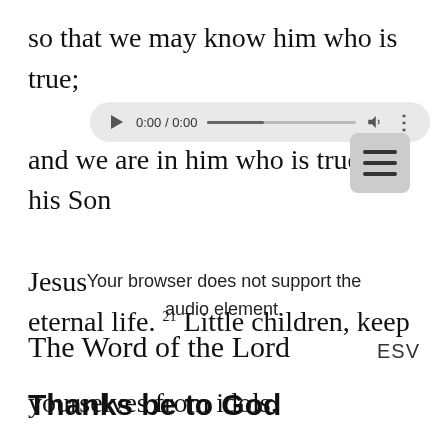so that we may know him who is true; and we are in him who is true, in his Son Jesus eternal life. 21 Little children, keep yourselves from idols.
[Figure (screenshot): Audio player overlay showing 0:00 / 0:00 timestamp with play button, progress bar, volume icon, and menu dots. Below is a hamburger menu button. A message reads: Your browser does not support the audio element.]
The Word of the Lord
ESV
Thanks be to God